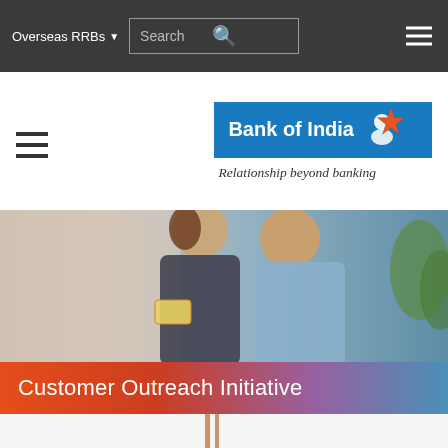Overseas RRBs  Search
[Figure (logo): Bank of India logo with star emblem and tagline 'Relationship beyond banking']
[Figure (photo): A smiling couple holding a card, sitting together on a sofa in a casual home setting]
Customer Outreach Initiative
[Figure (photo): Partial view of an outdoor event or gathering with people and red decorations, bottom of page]